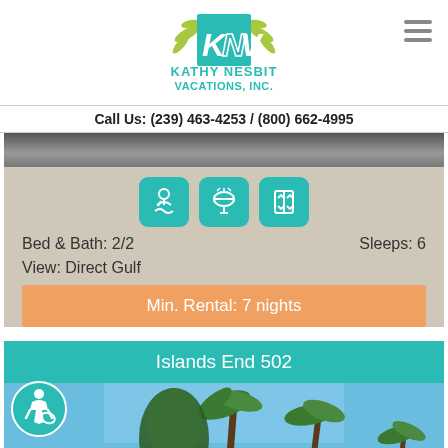[Figure (logo): Kathy Nesbit Vacations Inc. logo with teal KNV letters and palm leaf accents]
Call Us: (239) 463-4253 / (800) 662-4995
[Figure (photo): Partial photo of a vacation property (top cropped)]
[Figure (infographic): Three teal amenity icons: beach/swimming, BBQ grill, and elevator/room]
Bed & Bath: 2/2   Sleeps: 6
View: Direct Gulf
Min. Rental: 7 nights
Islands End 502
[Figure (photo): Photo of Islands End 502 vacation property showing pool area with palm trees and blue sky]